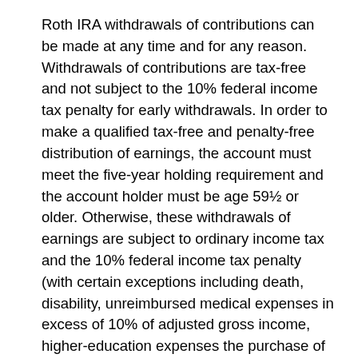Roth IRA withdrawals of contributions can be made at any time and for any reason. Withdrawals of contributions are tax-free and not subject to the 10% federal income tax penalty for early withdrawals. In order to make a qualified tax-free and penalty-free distribution of earnings, the account must meet the five-year holding requirement and the account holder must be age 59½ or older. Otherwise, these withdrawals of earnings are subject to ordinary income tax and the 10% federal income tax penalty (with certain exceptions including death, disability, unreimbursed medical expenses in excess of 10% of adjusted gross income, higher-education expenses the purchase of a first home ($10,000 lifetime cap) substantially equal periodic payments, and qualified reservist distributions).
Keep in mind that even though qualified Roth IRA distributions are free of federal income tax, they may be subject to state and/or local income taxes. Eligibility